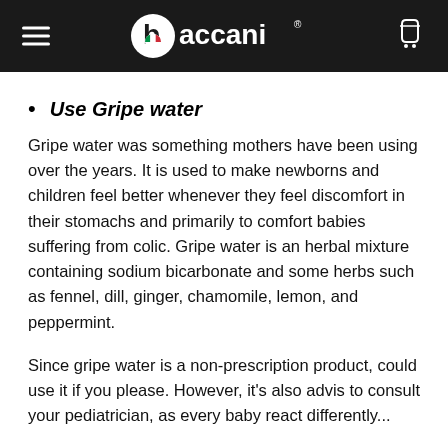baccani
Use Gripe water
Gripe water was something mothers have been using over the years. It is used to make newborns and children feel better whenever they feel discomfort in their stomachs and primarily to comfort babies suffering from colic. Gripe water is an herbal mixture containing sodium bicarbonate and some herbs such as fennel, dill, ginger, chamomile, lemon, and peppermint.
Since gripe water is a non-prescription product, could use it if you please. However, it's also advis to consult your pediatrician, as every baby react differently...